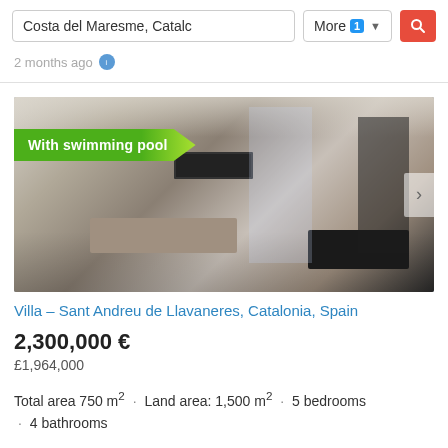[Figure (screenshot): Search bar with text input showing 'Costa del Maresme, Catalc', a 'More 1' dropdown button, and a red search icon button]
2 months ago
[Figure (photo): Interior photo of a modern villa living room with a 'With swimming pool' banner badge]
Villa – Sant Andreu de Llavaneres, Catalonia, Spain
2,300,000 €
£1,964,000
Total area 750 m² · Land area: 1,500 m² · 5 bedrooms · 4 bathrooms